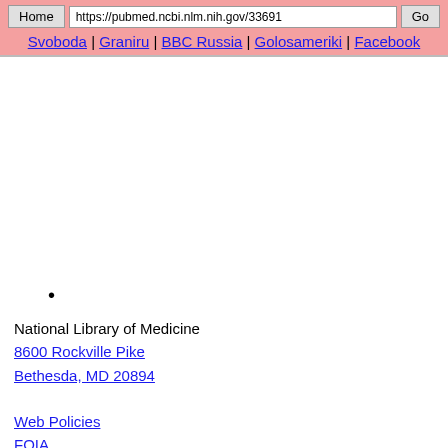Home  https://pubmed.ncbi.nlm.nih.gov/33691  Go
Svoboda | Graniru | BBC Russia | Golosameriki | Facebook
•
National Library of Medicine
8600 Rockville Pike
Bethesda, MD 20894

Web Policies
FOIA
HHS Vulnerability Disclosure